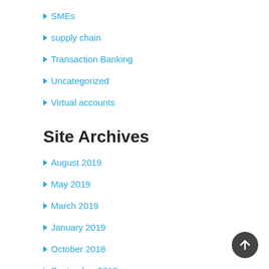SMEs
supply chain
Transaction Banking
Uncategorized
Virtual accounts
Site Archives
August 2019
May 2019
March 2019
January 2019
October 2018
September 2018
July 2018